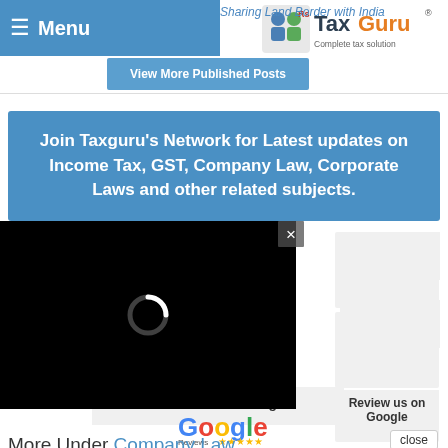≡ Menu
[Figure (logo): TaxGuru - Complete Tax Solution logo]
Sharing Land Border with India
View More Published Posts
Join Taxguru's Network for Latest updates on Income Tax, GST, Company Law, Corporate Laws and other related subjects.
WhatsApp
GROUP LINK
Telegram
GROUP LINK
[Figure (other): Black video loading overlay with spinner and close (×) button]
Review us on Google
[Figure (logo): Google Reviews with 5 stars]
More Under Company Law
close